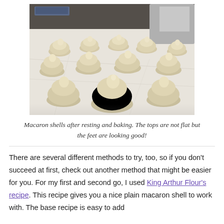[Figure (photo): Macaron shells arranged on a white surface after resting and baking. The shells are pale/cream colored with slightly raised bumpy tops and visible feet at the base.]
Macaron shells after resting and baking. The tops are not flat but the feet are looking good!
There are several different methods to try, too, so if you don't succeed at first, check out another method that might be easier for you. For my first and second go, I used King Arthur Flour's recipe. This recipe gives you a nice plain macaron shell to work with. The base recipe is easy to add